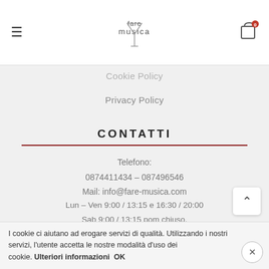fare musica logo, hamburger menu, cart icon
Cookie Policy
Privacy Policy
CONTATTI
Telefono:
0874411434 – 087496546
Mail: info@fare-musica.com
Lun – Ven 9:00 / 13:15 e 16:30 / 20:00
Sab 9:00 / 13:15 pom chiuso.
I cookie ci aiutano ad erogare servizi di qualità. Utilizzando i nostri servizi, l'utente accetta le nostre modalità d'uso dei cookie. Ulteriori informazioni OK